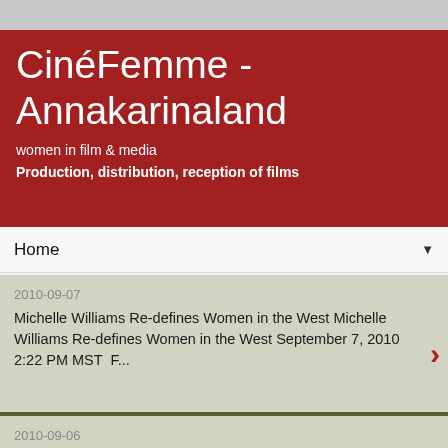CinéFemme - Annakarinaland
women in film & media
Production, distribution, reception of films
Home ▼
2010-09-07
Michelle Williams Re-defines Women in the West Michelle Williams Re-defines Women in the West September 7, 2010 2:22 PM MST F...
2010-09-06
Pernilla August's Beyond Hits Home Run at Venice
Pernilla August's Beyond Hits Home Run at Venice September